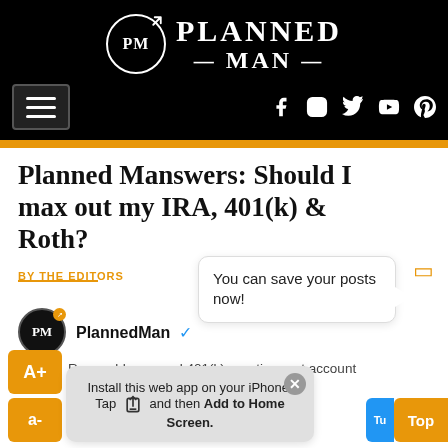[Figure (logo): Planned Man website header with logo showing PM circle with arrow, PLANNED MAN text, hamburger menu, and social media icons (Facebook, Instagram, Twitter, YouTube, Pinterest)]
Planned Manswers: Should I max out my IRA, 401(k) & Roth?
BY THE EDITORS
You can save your posts now!
PlannedMan ✓
Remembhr, a good 401(k) or retirement account
Install this web app on your iPhone. Tap [share icon] and then Add to Home Screen.